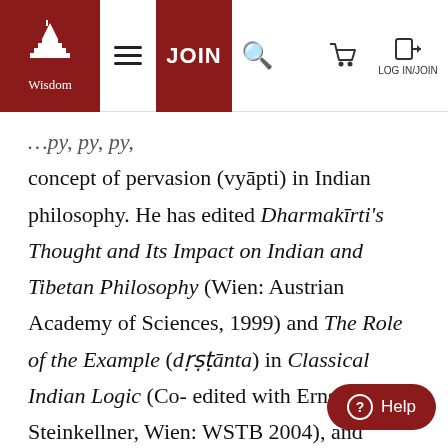Wisdom Publications navigation bar with logo, hamburger menu, JOIN button, search icon, cart icon, and LOG IN/JOIN link
concept of pervasion (vyāpti) in Indian philosophy. He has edited Dharmakīrti's Thought and Its Impact on Indian and Tibetan Philosophy (Wien: Austrian Academy of Sciences, 1999) and The Role of the Example (dṛṣṭānta) in Classical Indian Logic (Co-edited with Ernst Steinkellner, Wien: WSTB 2004), and published Nāgārjuna's Middle Way (with Mark Siderits, Boston: Wisdom 2013), Indian L… (Indojin no Ronrigaku) (Kyoto: